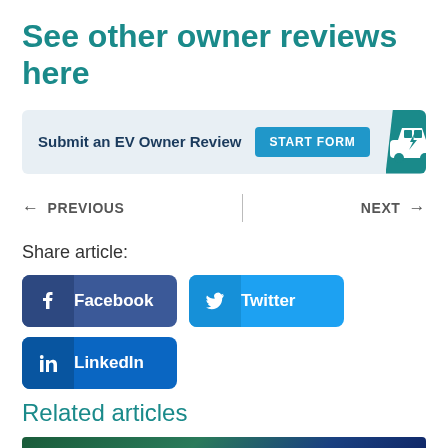See other owner reviews here
[Figure (infographic): Banner: Submit an EV Owner Review with START FORM button and EV car icon]
← PREVIOUS | NEXT →
Share article:
Facebook
Twitter
LinkedIn
Related articles
[Figure (photo): Partial photo of article preview at bottom of page]